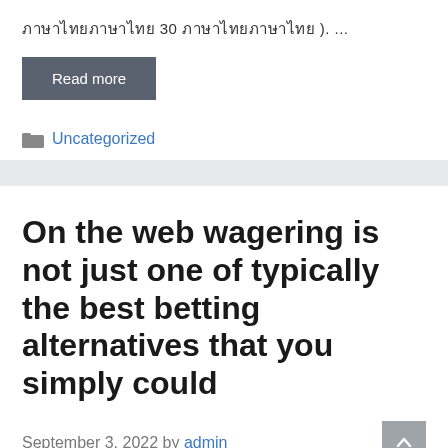□□□□□□□□□□□□ 30 □□□□□□□□□□□□□□□ ). ...
Read more
Uncategorized
On the web wagering is not just one of typically the best betting alternatives that you simply could
September 3, 2022 by admin